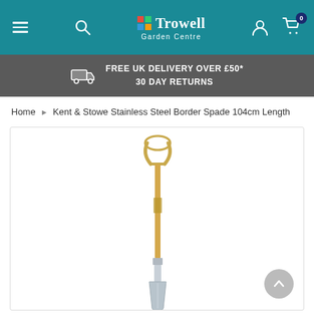Trowell Garden Centre navigation bar with hamburger menu, search, logo, account and cart icons
FREE UK DELIVERY OVER £50* 30 DAY RETURNS
Home › Kent & Stowe Stainless Steel Border Spade 104cm Length
[Figure (photo): Kent & Stowe Stainless Steel Border Spade with wooden D-handle and stainless steel blade, shown full length on white background]